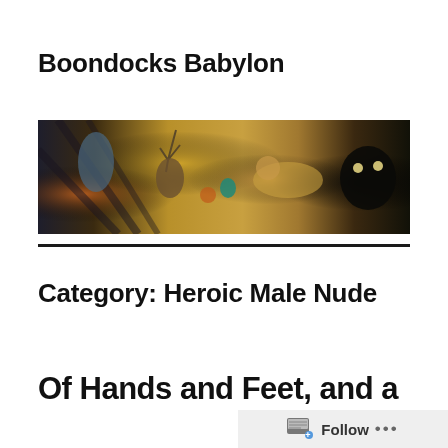Boondocks Babylon
[Figure (photo): Wide horizontal painting showing mythological or surreal scene with figures including what appears to be a deer/stag figure, a reclining person, and a dark creature with prominent eyes, rendered in oil paint with warm yellows and browns.]
Category: Heroic Male Nude
Of Hands and Feet, and a